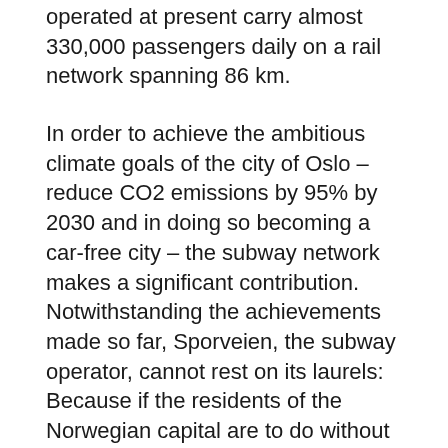operated at present carry almost 330,000 passengers daily on a rail network spanning 86 km.
In order to achieve the ambitious climate goals of the city of Oslo – reduce CO2 emissions by 95% by 2030 and in doing so becoming a car-free city – the subway network makes a significant contribution. Notwithstanding the achievements made so far, Sporveien, the subway operator, cannot rest on its laurels: Because if the residents of the Norwegian capital are to do without the car, they need an attractive and increasingly powerful alternative – like the T-Bane.
For years, the city, transport association, and operator have been investing in the climate-friendly expansion of the subway network. The train fleet has been undergoing modernization since 2007 and today is entirely equipped with white, energy-efficient trains of the MX3000 series from Siemens. New lines and